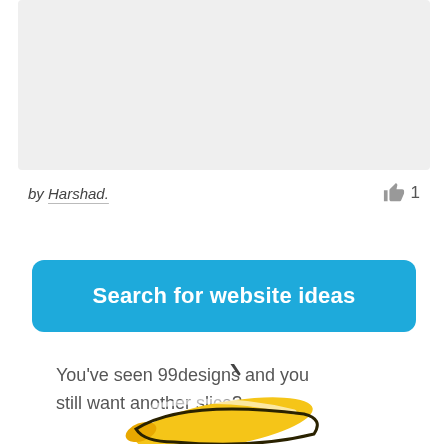[Figure (illustration): Gray placeholder rectangle at top of page]
by Harshad.
👍 1
Search for website ideas
You've seen 99designs and you still want another slice?
[Figure (illustration): Partial banana illustration at bottom of page with a diagonal slash/stick mark above it]